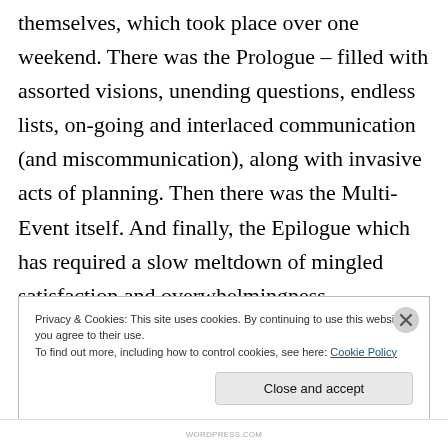themselves, which took place over one weekend. There was the Prologue – filled with assorted visions, unending questions, endless lists, on-going and interlaced communication (and miscommunication), along with invasive acts of planning. Then there was the Multi-Event itself. And finally, the Epilogue which has required a slow meltdown of mingled satisfaction and overwhelmingness.
Privacy & Cookies: This site uses cookies. By continuing to use this website, you agree to their use.
To find out more, including how to control cookies, see here: Cookie Policy
Close and accept